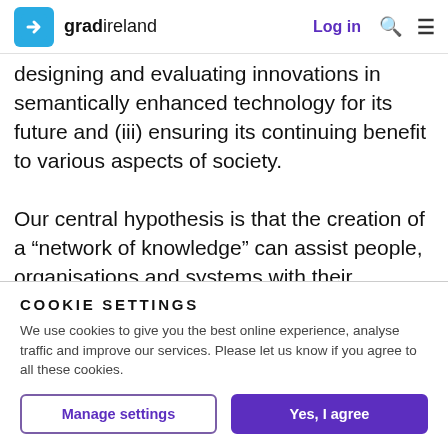gradireland — Log in
designing and evaluating innovations in semantically enhanced technology for its future and (iii) ensuring its continuing benefit to various aspects of society.

Our central hypothesis is that the creation of a "network of knowledge" can assist people, organisations and systems with their individual as well as collective problem solving, enabling
COOKIE SETTINGS
We use cookies to give you the best online experience, analyse traffic and improve our services. Please let us know if you agree to all these cookies.
Manage settings | Yes, I agree